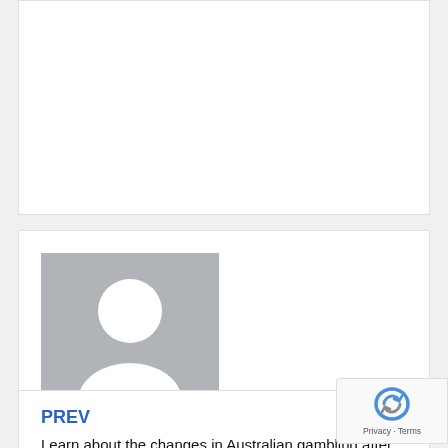[Figure (illustration): White card area at top, partially cropped]
[Figure (illustration): Default user avatar placeholder — grey square with white silhouette person icon]
Published by freecashgambling
View all posts by freecashgambling
PREV
Learn about the changes in Australian gambling after the IGA